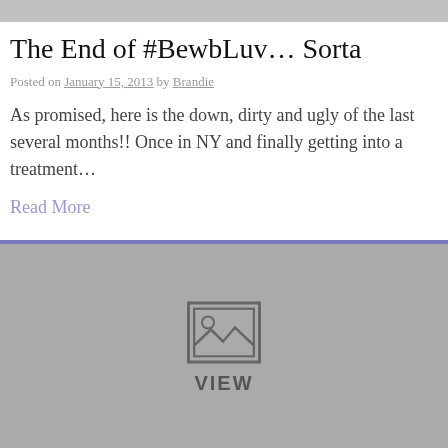The End of #BewbLuv… Sorta
Posted on January 15, 2013 by Brandie
As promised, here is the down, dirty and ugly of the last several months!! Once in NY and finally getting into a treatment...
Read More
[Figure (photo): Gray placeholder image block with a VIEW icon and label, beneath a blue-purple top border strip]